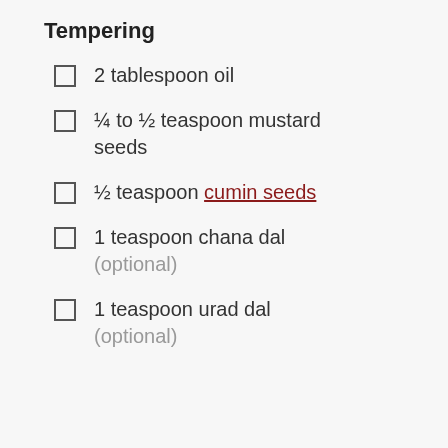Tempering
2 tablespoon oil
¼ to ½ teaspoon mustard seeds
½ teaspoon cumin seeds
1 teaspoon chana dal (optional)
1 teaspoon urad dal (optional)